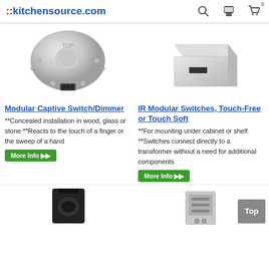::kitchensource.com
[Figure (photo): Round silver Modular Captive Switch/Dimmer device, top view with connector port at bottom]
Modular Captive Switch/Dimmer
**Concealed installation in wood, glass or stone **Reacts to the touch of a finger or the sweep of a hand
[Figure (photo): Rectangular flat silver IR Modular Switch box with slot opening]
IR Modular Switches, Touch-Free or Touch Soft
**For mounting under cabinet or shelf **Switches connect directly to a transformer without a need for additional components
[Figure (photo): Black rectangular switch device, partially visible at bottom left]
[Figure (photo): Silver/grey mechanical device partially visible at bottom center]